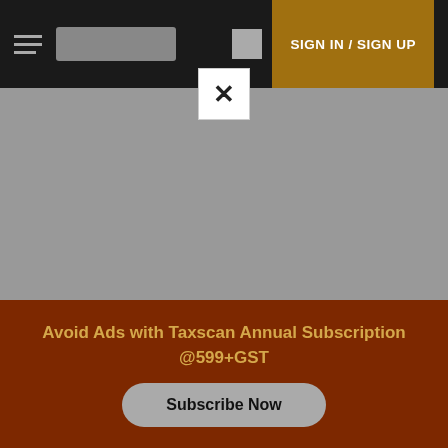SIGN IN / SIGN UP
[Figure (screenshot): Gray advertisement/image placeholder area]
The CESTAT, Ahmedabad bench has held that service tax is not leviable on builder for the construction services provided prior to 1st July
Avoid Ads with Taxscan Annual Subscription @599+GST
Subscribe Now